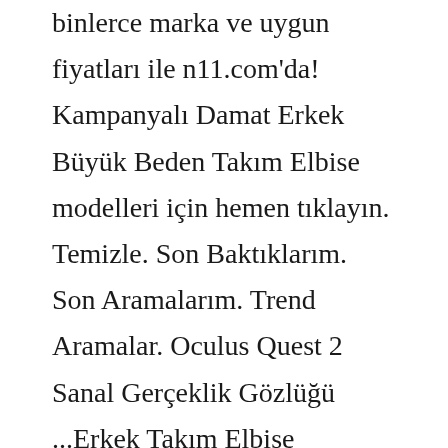binlerce marka ve uygun fiyatları ile n11.com'da! Kampanyalı Damat Erkek Büyük Beden Takım Elbise modelleri için hemen tıklayın. Temizle. Son Baktıklarım. Son Aramalarım. Trend Aramalar. Oculus Quest 2 Sanal Gerçeklik Gözlüğü ...Erkek Takım Elbise modellerinde uygun fiyat ve Kiğılı kalitesi! Avantajlı fiyatlarla sahip olmak için hemen tıklayın ve keşfetmeye başlayın! ... Slim Fit Mono Yaka Yelekli Smokin & Damatlık. 4499 TL. Özel Fiyat